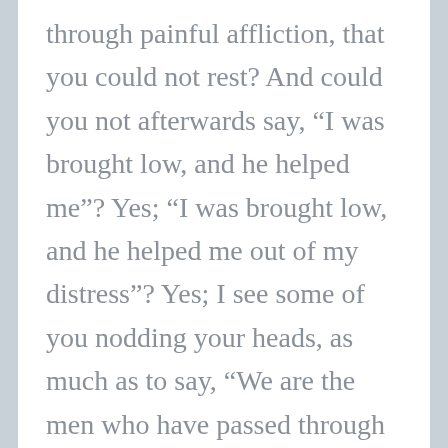through painful affliction, that you could not rest? And could you not afterwards say, “I was brought low, and he helped me”? Yes; “I was brought low, and he helped me out of my distress”? Yes; I see some of you nodding your heads, as much as to say, “We are the men who have passed through that experience; we have been brought into great straits, but the Lord has delivered us out of